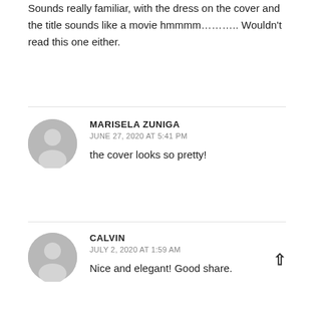Sounds really familiar, with the dress on the cover and the title sounds like a movie hmmmm……….. Wouldn't read this one either.
MARISELA ZUNIGA
JUNE 27, 2020 AT 5:41 PM
the cover looks so pretty!
CALVIN
JULY 2, 2020 AT 1:59 AM
Nice and elegant! Good share.